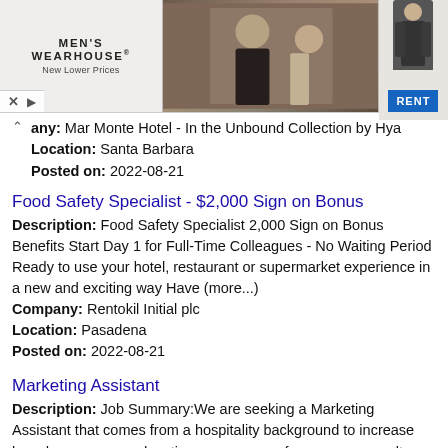[Figure (screenshot): Men's Wearhouse advertisement banner with couple in formal wear and 'RENT' button]
any: Mar Monte Hotel - In the Unbound Collection by Hya
Location: Santa Barbara
Posted on: 2022-08-21
Food Safety Specialist - $2,000 Sign on Bonus
Description: Food Safety Specialist 2,000 Sign on Bonus Benefits Start Day 1 for Full-Time Colleagues - No Waiting Period Ready to use your hotel, restaurant or supermarket experience in a new and exciting way Have (more...)
Company: Rentokil Initial plc
Location: Pasadena
Posted on: 2022-08-21
Marketing Assistant
Description: Job Summary:We are seeking a Marketing Assistant that comes from a hospitality background to increase brand awareness, educating newcomers of our company culture, and tracking activity. The ideal candidate (more...)
Company: Nova Management
Location: Burbank
Posted on: 2022-08-21